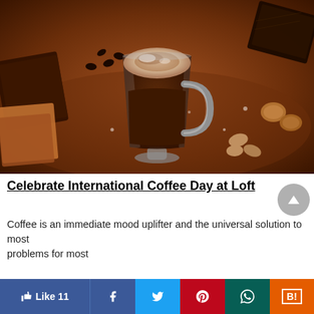[Figure (photo): A glass coffee mug filled with dark coffee and topped with creamy foam dusted with cocoa powder, surrounded by chocolate pieces, walnuts, almonds, and coffee beans on a wooden table.]
Celebrate International Coffee Day at Loft
Coffee is an immediate mood uplifter and the universal solution to most problems for most